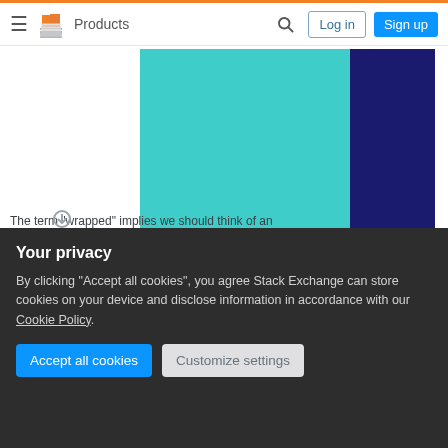Stack Overflow — Products | Log in | Sign up
[Figure (screenshot): Partial advertisement banner with teal/green and dark navy blue geometric shapes]
Report this ad
Sorted by:
Trending sort available ℹ
Highest score (default)
23 Answers
What does it mean to "unwrap the
Your privacy
By clicking "Accept all cookies", you agree Stack Exchange can store cookies on your device and disclose information in accordance with our Cookie Policy.
Accept all cookies
Customize settings
The term "wrapped" implies we should think of an